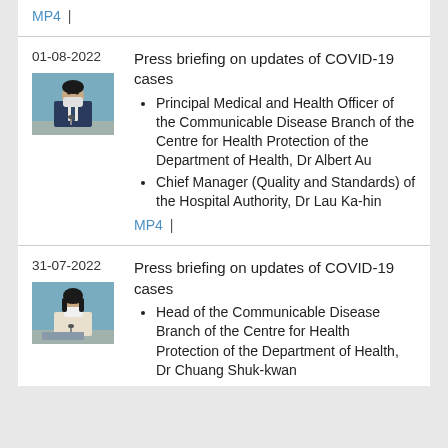MP4 |
01-08-2022
[Figure (photo): Photo of a man in suit and mask speaking at a press briefing podium with a blue-green background]
Press briefing on updates of COVID-19 cases
Principal Medical and Health Officer of the Communicable Disease Branch of the Centre for Health Protection of the Department of Health, Dr Albert Au
Chief Manager (Quality and Standards) of the Hospital Authority, Dr Lau Ka-hin
MP4 |
31-07-2022
[Figure (photo): Photo of a woman in light-coloured outfit and mask speaking at a press briefing podium with a blue-green background]
Press briefing on updates of COVID-19 cases
Head of the Communicable Disease Branch of the Centre for Health Protection of the Department of Health, Dr Chuang Shuk-kwan